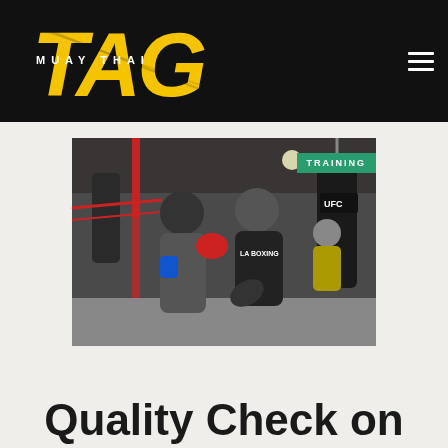TAG MUAY THAI
[Figure (photo): Two men training Muay Thai in a gym — one wearing red boxing gloves throwing a knee strike, the other in a black LA Boxing shirt instructing. Heavy bags hang in the background. A teal TRAINING badge appears in the upper right corner of the photo.]
Quality Check on